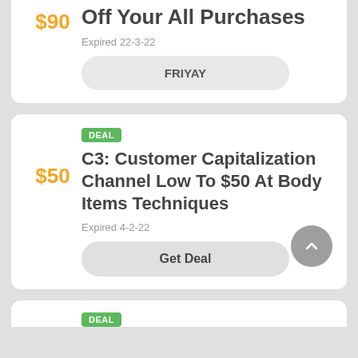$90
Enjoy Save Up To $90 Off Your All Purchases
Expired 22-3-22
FRIYAY
DEAL
$50
C3: Customer Capitalization Channel Low To $50 At Body Items Techniques
Expired 4-2-22
Get Deal
DEAL